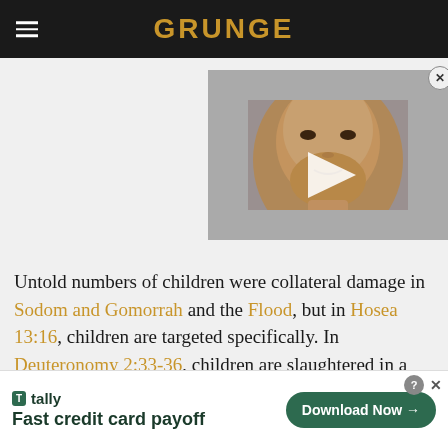GRUNGE
[Figure (photo): Video thumbnail showing a close-up of a bald man's face with a play button overlay and an X close button in the top right corner.]
Untold numbers of children were collateral damage in Sodom and Gomorrah and the Flood, but in Hosea 13:16, children are targeted specifically. In Deuteronomy 2:33-36, children are slaughtered in a genocide. There is then the
[Figure (screenshot): Advertisement for Tally - Fast credit card payoff. Shows Tally logo, tagline 'Fast credit card payoff', and a green 'Download Now' button with arrow.]